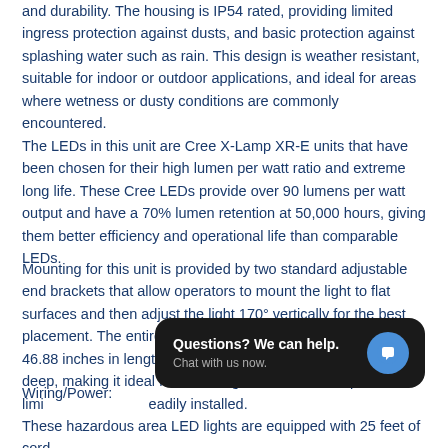and durability. The housing is IP54 rated, providing limited ingress protection against dusts, and basic protection against splashing water such as rain. This design is weather resistant, suitable for indoor or outdoor applications, and ideal for areas where wetness or dusty conditions are commonly encountered.
The LEDs in this unit are Cree X-Lamp XR-E units that have been chosen for their high lumen per watt ratio and extreme long life. These Cree LEDs provide over 90 lumens per watt output and have a 70% lumen retention at 50,000 hours, giving them better efficiency and operational life than comparable LEDs.
Mounting for this unit is provided by two standard adjustable end brackets that allow operators to mount the light to flat surfaces and then adjust the light 170° vertically for the best placement. The entire assembly weighs 2.8 lbs and measures 46.88 inches in length, and 2.68 inches wide and 1.69 inches deep, making it ideal for mounting in areas where space is limi[ted and can be r]eadily installed.
Wiring/Power:
These hazardous area LED lights are equipped with 25 feet of cord
[Figure (other): Chat widget overlay: dark rounded rectangle with text 'Questions? We can help.' and 'Chat with us now.' alongside a blue circular chat icon]